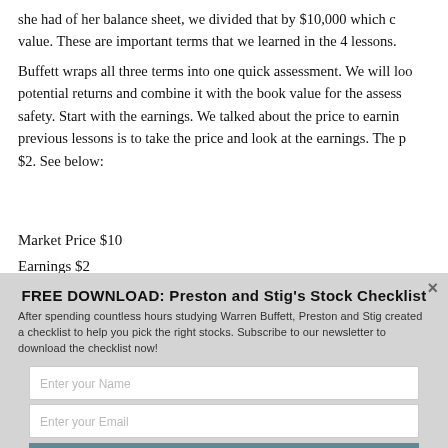she had of her balance sheet, we divided that by $10,000 which c value. These are important terms that we learned in the 4 lessons.
Buffett wraps all three terms into one quick assessment. We will loo potential returns and combine it with the book value for the assess safety. Start with the earnings. We talked about the price to earnin previous lessons is to take the price and look at the earnings. The p $2. See below:
Market Price $10
Earnings $2
FREE DOWNLOAD: Preston and Stig's Stock Checklist
After spending countless hours studying Warren Buffett, Preston and Stig created a checklist to help you pick the right stocks. Subscribe to our newsletter to download the checklist now!